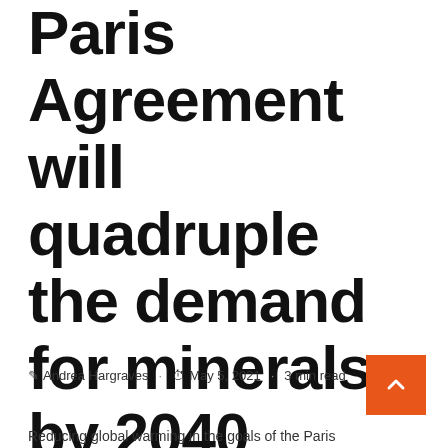Paris Agreement will quadruple the demand for minerals by 2040
Andrea Hargraves · May 5, 2021 · 3 min read
Reducing global warming in the goals of the Paris